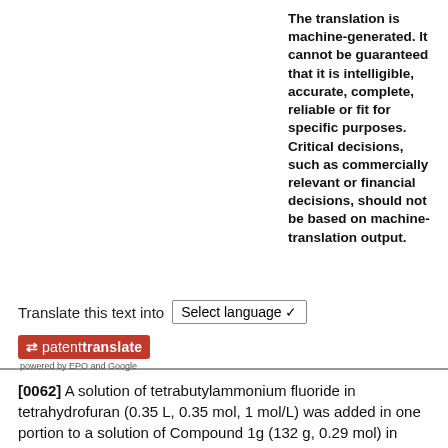Translate this text into [Select language]
[Figure (logo): Patent Translate logo with red background, arrows icon, text 'patenttranslate', and subtitle 'powered by EPO and Google']
The translation is machine-generated. It cannot be guaranteed that it is intelligible, accurate, complete, reliable or fit for specific purposes. Critical decisions, such as commercially relevant or financial decisions, should not be based on machine-translation output.
[0062] A solution of tetrabutylammonium fluoride in tetrahydrofuran (0.35 L, 0.35 mol, 1 mol/L) was added in one portion to a solution of Compound 1g (132 g, 0.29 mol) in